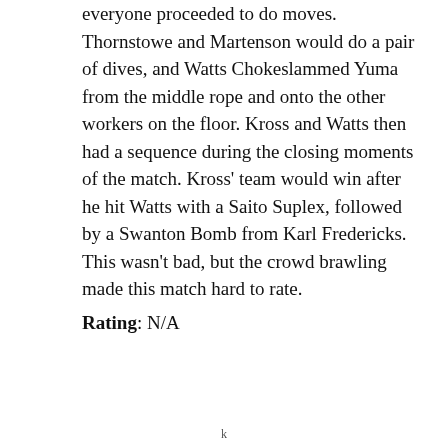everyone proceeded to do moves. Thornstowe and Martenson would do a pair of dives, and Watts Chokeslammed Yuma from the middle rope and onto the other workers on the floor. Kross and Watts then had a sequence during the closing moments of the match. Kross' team would win after he hit Watts with a Saito Suplex, followed by a Swanton Bomb from Karl Fredericks. This wasn't bad, but the crowd brawling made this match hard to rate.
Rating: N/A
k